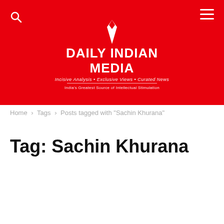DAILY INDIAN MEDIA – Incisive Analysis • Exclusive Views • Curated News – India's Greatest Source of Intellectual Stimulation
Home › Tags › Posts tagged with "Sachin Khurana"
Tag: Sachin Khurana